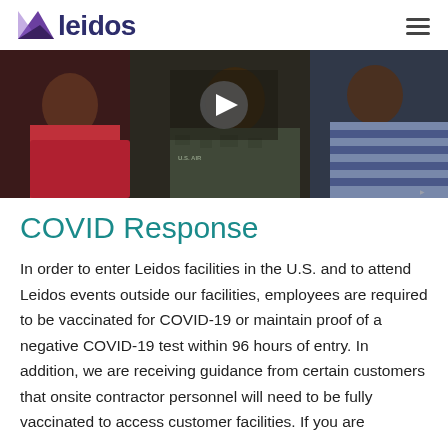leidos
[Figure (photo): Video thumbnail showing people including someone in a pink shirt and someone in a U.S. Air Force uniform, with a play button overlay in the center.]
COVID Response
In order to enter Leidos facilities in the U.S. and to attend Leidos events outside our facilities, employees are required to be vaccinated for COVID-19 or maintain proof of a negative COVID-19 test within 96 hours of entry. In addition, we are receiving guidance from certain customers that onsite contractor personnel will need to be fully vaccinated to access customer facilities. If you are